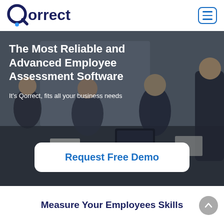[Figure (logo): Qorrect logo with stylized Q and blue dot accent]
[Figure (screenshot): Navigation hamburger menu button with three horizontal lines, blue border]
[Figure (photo): Hero image showing business professionals in a meeting around a table with laptops, dark overlay]
The Most Reliable and Advanced Employee Assessment Software
It's Qorrect, fits all your business needs
Request Free Demo
Measure Your Employees Skills